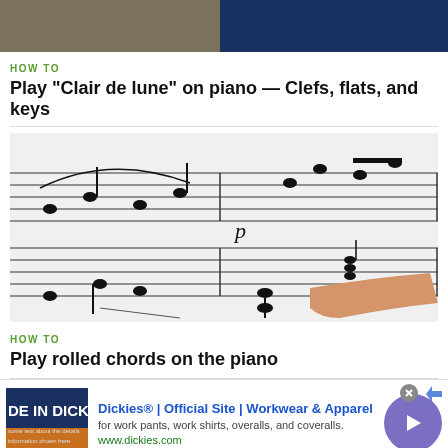[Figure (photo): Top partial image of a person playing piano, shown from torso up]
HOW TO
Play "Clair de lune" on piano — Clefs, flats, and keys
[Figure (photo): Sheet music for Clair de lune with a hand finger pointing at the notes]
HOW TO
Play rolled chords on the piano
[Figure (infographic): Advertisement for Dickies workwear showing logo image, title, description and URL]